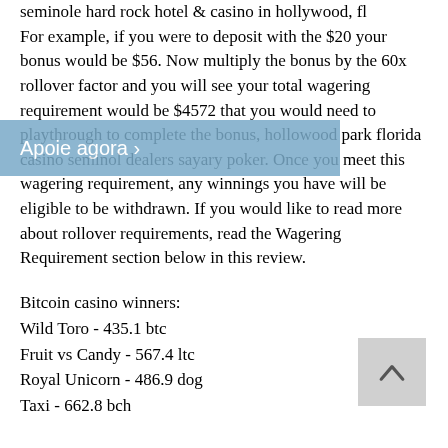seminole hard rock hotel &amp; casino in hollywood, fl
For example, if you were to deposit with the $20 your bonus would be $56. Now multiply the bonus by the 60x rollover factor and you will see your total wagering requirement would be $4572 that you would need to playthrough to complete the bonus, hollowood park florida casino seminol dealers sayary poker. Once you meet this wagering requirement, any winnings you have will be eligible to be withdrawn. If you would like to read more about rollover requirements, read the Wagering Requirement section below in this review.
Bitcoin casino winners:
Wild Toro - 435.1 btc
Fruit vs Candy - 567.4 ltc
Royal Unicorn - 486.9 dog
Taxi - 662.8 bch